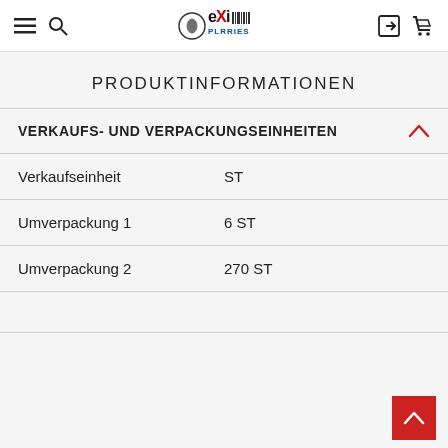Navigation bar with hamburger menu, search, exi logo, login and cart icons
PRODUKTINFORMATIONEN
VERKAUFS- UND VERPACKUNGSEINHEITEN
| Label | Wert |
| --- | --- |
| Verkaufseinheit | ST |
| Umverpackung 1 | 6 ST |
| Umverpackung 2 | 270 ST |